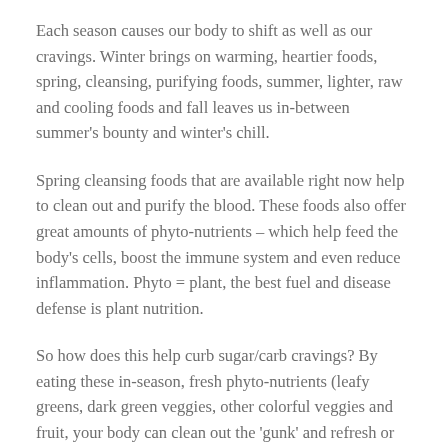Each season causes our body to shift as well as our cravings. Winter brings on warming, heartier foods, spring, cleansing, purifying foods, summer, lighter, raw and cooling foods and fall leaves us in-between summer's bounty and winter's chill.
Spring cleansing foods that are available right now help to clean out and purify the blood. These foods also offer great amounts of phyto-nutrients – which help feed the body's cells, boost the immune system and even reduce inflammation. Phyto = plant, the best fuel and disease defense is plant nutrition.
So how does this help curb sugar/carb cravings? By eating these in-season, fresh phyto-nutrients (leafy greens, dark green veggies, other colorful veggies and fruit, your body can clean out the 'gunk' and refresh or reboot your...